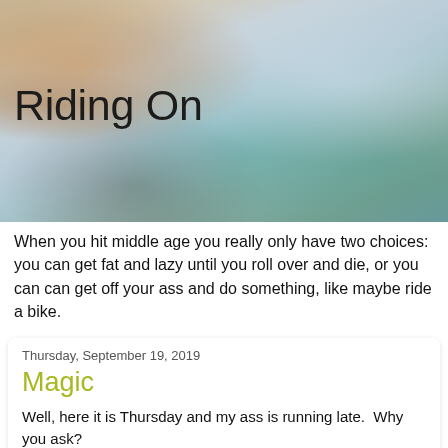[Figure (photo): Blurred photograph of a bicycle with an orange/tan seat in the foreground and a teal bicycle frame in the background, soft bokeh effect]
Riding On
When you hit middle age you really only have two choices: you can get fat and lazy until you roll over and die, or you can can get off your ass and do something, like maybe ride a bike.
Thursday, September 19, 2019
Magic
Well, here it is Thursday and my ass is running late.  Why you ask?
Well, I got home yesterday and my GoPro was waiting for me.  I unpacked it, put in the sim card and battery, and turned it on.  It beeped several times.  I could see the top of my desk on the view screen... and then it turned off.  I looked at the instructions and one of the most prominent things on Page 1 was 'charge the battery.'  So I plugged in the charger.  Fully charged, I tried turning on the camera.